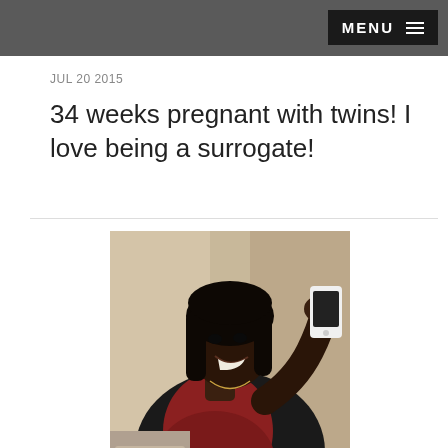MENU
JUL 20 2015
34 weeks pregnant with twins! I love being a surrogate!
[Figure (photo): Woman taking a mirror selfie with a white smartphone, wearing a dark blazer over a red top, visibly pregnant, smiling at camera]